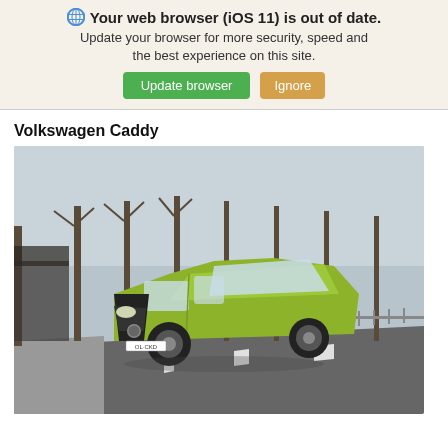🌐 Your web browser (iOS 11) is out of date. Update your browser for more security, speed and the best experience on this site. [Update browser] [Ignore]
Volkswagen Caddy
[Figure (photo): A yellow-green Volkswagen Caddy van driving on a road with bare trees in the background.]